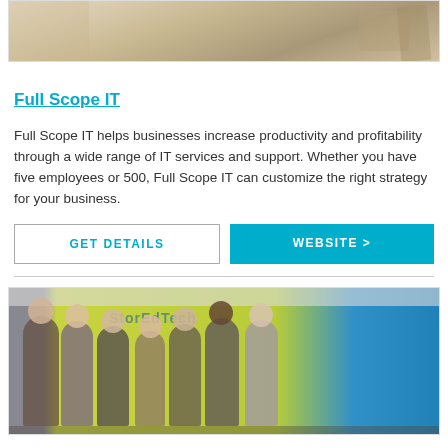[Figure (photo): Top portion of a photo showing business professionals at a desk, partially visible]
Full Scope IT
Full Scope IT helps businesses increase productivity and profitability through a wide range of IT services and support. Whether you have five employees or 500, Full Scope IT can customize the right strategy for your business.
GET DETAILS | WEBSITE >
[Figure (photo): Group photo of StorEdTech team members standing in front of a yellow-green wall with the StorEdTech logo, with a blue accent wall visible on the right]